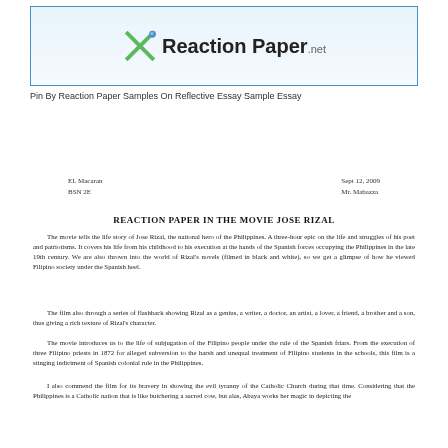[Figure (logo): ReactionPaper.net logo with green X icon inside a light blue bordered box]
Pin By Reaction Paper Samples On Reflective Essay Sample Essay
EL Macaran
BSN 2E

Sept 12, 2009
Mr. Mabazza
REACTION PAPER IN THE MOVIE JOSE RIZAL
The movie tells the life story of Jose Rizal, the national hero of the Philippines. A three-hour epic on the life and struggles of his poet and patriotisms. It covers his life from his childhood to his execution at the hands of the Spanish forces occupying the Philippines in the late 19th century. We are also thrown into the world of Rizal's novels (filmed in black and white), so we get a glimpse of how he viewed Filipino society under the Spanish heel.
The film also through a series of flashback showing Rizal as a genius, a writer, a doctor, an artist, a lover, a friend, a brother and a son, thus giving a rich texture of Rizal's character.
The movie introduces us to the life of subjugation of the Filipino people under the rule of the Spanish friars. From the execution of three Filipino priests in 1872 for alleged subversion to the harsh and unequal treatment of Filipino students in the schools, this film is a stinging indictment of Spanish colonial rule in the Philippines.
I also commend the film for its bravery in showing the evil tyranny of the Catholic Church during that time. Considering that the Philippines is a Catholic nation that is like butchering a sacred cow, but alas, Abaya works her magic in depicting the